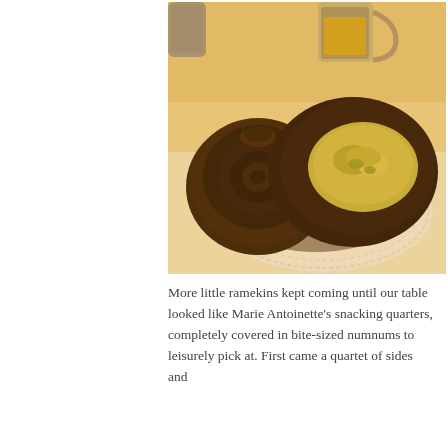[Figure (photo): Close-up photo of a dark cast-iron vessel with its lid ajar, containing a yellow-green substance (possibly a grain or cheese preparation), resting on a white lace doily on a white tablecloth. A silver metal cup or pitcher is visible in the background. The image has warm amber/golden tones.]
More little ramekins kept coming until our table looked like Marie Antoinette’s snacking quarters, completely covered in bite-sized numnums to leisurely pick at. First came a quartet of sides and